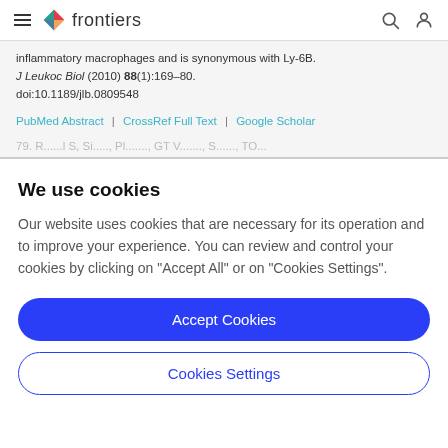frontiers
inflammatory macrophages and is synonymous with Ly-6B. J Leukoc Biol (2010) 88(1):169–80. doi:10.1189/jlb.0809548
PubMed Abstract | CrossRef Full Text | Google Scholar
79. R...
We use cookies
Our website uses cookies that are necessary for its operation and to improve your experience. You can review and control your cookies by clicking on "Accept All" or on "Cookies Settings".
Accept Cookies
Cookies Settings